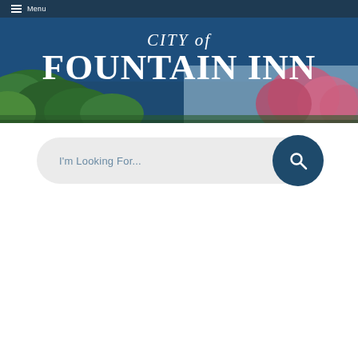Menu
[Figure (screenshot): City of Fountain Inn government website screenshot showing navigation header with menu icon, city logo banner with green foliage background, and search bar with 'I'm Looking For...' placeholder text]
CITY of FOUNTAIN INN
I'm Looking For...